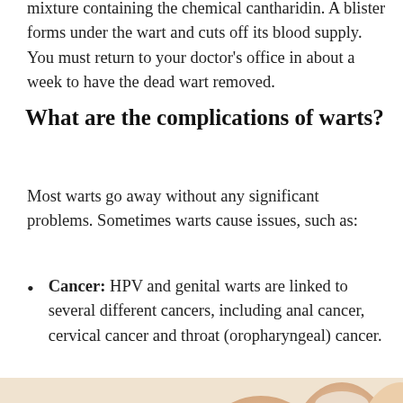mixture containing the chemical cantharidin. A blister forms under the wart and cuts off its blood supply. You must return to your doctor's office in about a week to have the dead wart removed.
What are the complications of warts?
Most warts go away without any significant problems. Sometimes warts cause issues, such as:
Cancer: HPV and genital warts are linked to several different cancers, including anal cancer, cervical cancer and throat (oropharyngeal) cancer.
[Figure (photo): Close-up photograph of toes showing skin condition, likely warts on foot]